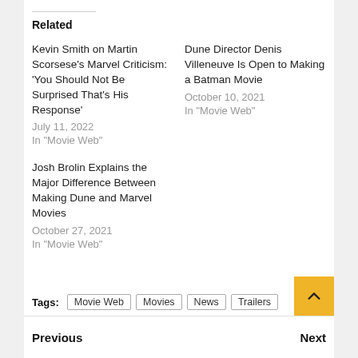Related
Kevin Smith on Martin Scorsese's Marvel Criticism: 'You Should Not Be Surprised That's His Response'
July 11, 2022
In "Movie Web"
Dune Director Denis Villeneuve Is Open to Making a Batman Movie
October 10, 2021
In "Movie Web"
Josh Brolin Explains the Major Difference Between Making Dune and Marvel Movies
October 27, 2021
In "Movie Web"
Tags: Movie Web  Movies  News  Trailers
Previous
Next